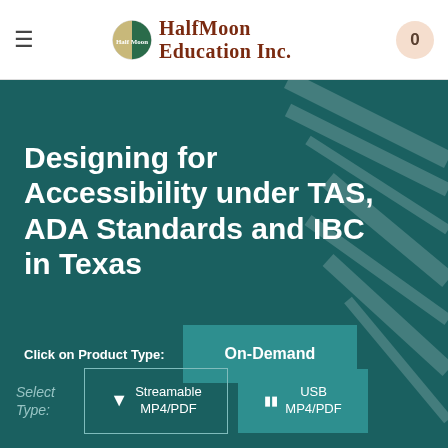HalfMoon Education Inc.
Designing for Accessibility under TAS, ADA Standards and IBC in Texas
Click on Product Type:
On-Demand
Select Type:
Streamable MP4/PDF
USB MP4/PDF